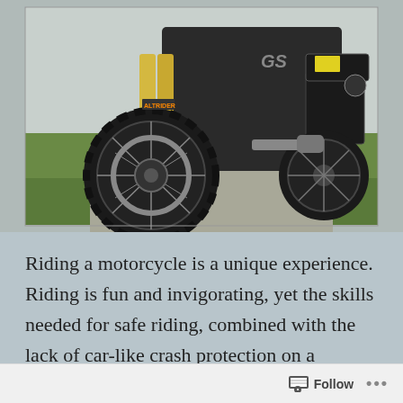[Figure (photo): Adventure motorcycle (BMW GS with AltRider accessories) parked on a gravel path with green grass and mountains in the background. The front wheel with knobby tire and forks are prominently visible.]
Riding a motorcycle is a unique experience. Riding is fun and invigorating, yet the skills needed for safe riding, combined with the lack of car-like crash protection on a motorcycle, can cast doubts on whether a person should choose to ride a motorcycle.
Follow ...